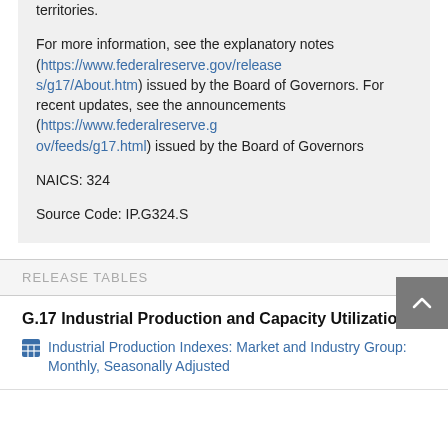territories.
For more information, see the explanatory notes (https://www.federalreserve.gov/releases/g17/About.htm) issued by the Board of Governors. For recent updates, see the announcements (https://www.federalreserve.gov/feeds/g17.html) issued by the Board of Governors
NAICS: 324
Source Code: IP.G324.S
RELEASE TABLES
G.17 Industrial Production and Capacity Utilization
Industrial Production Indexes: Market and Industry Group: Monthly, Seasonally Adjusted